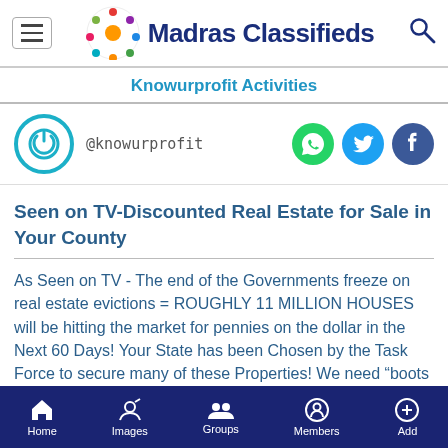Madras Classifieds
Knowurprofit Activities
@knowurprofit
Seen on TV-Discounted Real Estate for Sale in Your County
As Seen on TV - The end of the Governments freeze on real estate evictions = ROUGHLY 11 MILLION HOUSES will be hitting the market for pennies on the dollar in the Next 60 Days! Your State has been Chosen by the Task Force to secure many of these Properties! We need “boots on the ground” to help us Buy and Sell blocks of these properties.
Home | Images | Groups | Members | Add